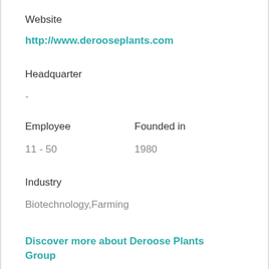Website
http://www.derooseplants.com
Headquarter
-
Employee
Founded in
11 - 50
1980
Industry
Biotechnology,Farming
Discover more about Deroose Plants Group